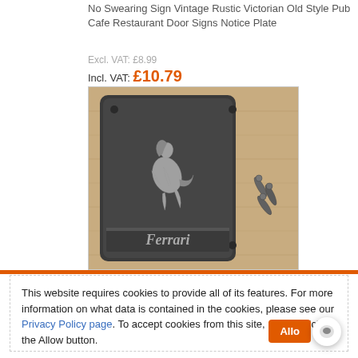No Swearing Sign Vintage Rustic Victorian Old Style Pub Cafe Restaurant Door Signs Notice Plate
Excl. VAT: £8.99
Incl. VAT: £10.79
[Figure (photo): A cast iron or metal Ferrari-branded plaque showing a prancing horse emblem with screws/fixings laid next to it on a wooden surface.]
This website requires cookies to provide all of its features. For more information on what data is contained in the cookies, please see our Privacy Policy page. To accept cookies from this site, please click the Allow button.